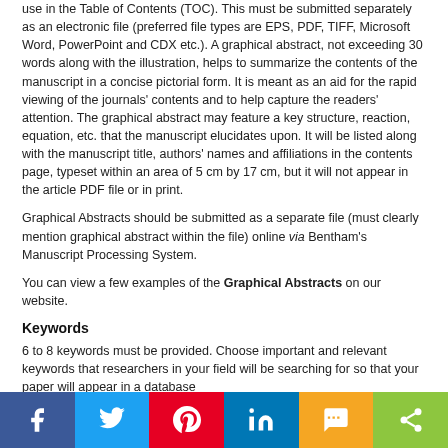use in the Table of Contents (TOC). This must be submitted separately as an electronic file (preferred file types are EPS, PDF, TIFF, Microsoft Word, PowerPoint and CDX etc.). A graphical abstract, not exceeding 30 words along with the illustration, helps to summarize the contents of the manuscript in a concise pictorial form. It is meant as an aid for the rapid viewing of the journals' contents and to help capture the readers' attention. The graphical abstract may feature a key structure, reaction, equation, etc. that the manuscript elucidates upon. It will be listed along with the manuscript title, authors' names and affiliations in the contents page, typeset within an area of 5 cm by 17 cm, but it will not appear in the article PDF file or in print.
Graphical Abstracts should be submitted as a separate file (must clearly mention graphical abstract within the file) online via Bentham's Manuscript Processing System.
You can view a few examples of the Graphical Abstracts on our website.
Keywords
6 to 8 keywords must be provided. Choose important and relevant keywords that researchers in your field will be searching for so that your paper will appear in a database